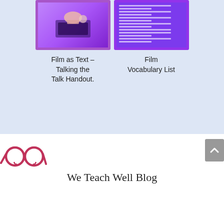[Figure (photo): Thumbnail image of a hand typing on a laptop with a coffee cup, framed in purple border]
Film as Text – Talking the Talk Handout.
[Figure (photo): Thumbnail image of a purple vocabulary list document]
Film Vocabulary List
[Figure (illustration): Pink/magenta reading glasses logo for We Teach Well Blog]
We Teach Well Blog